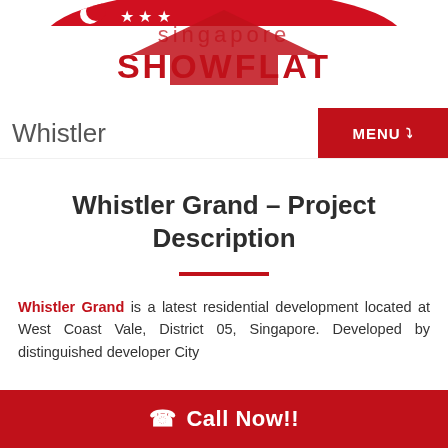[Figure (logo): Singapore Showflat logo with Singapore flag imagery, house rooftop silhouette, and text 'singapore SHOWFLAT Whistler']
MENU
Whistler Grand – Project Description
Whistler Grand is a latest residential development located at West Coast Vale, District 05, Singapore. Developed by distinguished developer City
Call Now!!